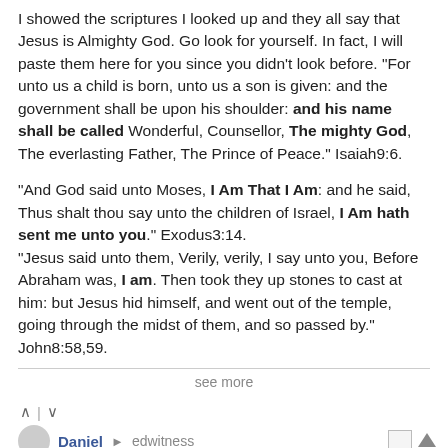I showed the scriptures I looked up and they all say that Jesus is Almighty God. Go look for yourself. In fact, I will paste them here for you since you didn't look before. "For unto us a child is born, unto us a son is given: and the government shall be upon his shoulder: and his name shall be called Wonderful, Counsellor, The mighty God, The everlasting Father, The Prince of Peace." Isaiah9:6.

"And God said unto Moses, I Am That I Am: and he said, Thus shalt thou say unto the children of Israel, I Am hath sent me unto you." Exodus3:14.
"Jesus said unto them, Verily, verily, I say unto you, Before Abraham was, I am. Then took they up stones to cast at him: but Jesus hid himself, and went out of the temple, going through the midst of them, and so passed by." John8:58,59.
see more
Daniel → edwitness